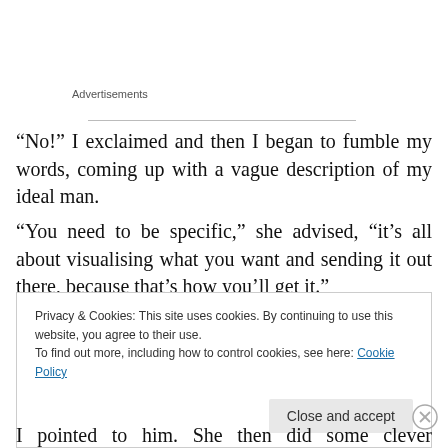Advertisements
“No!” I exclaimed and then I began to fumble my words, coming up with a vague description of my ideal man.
“You need to be specific,” she advised, “it’s all about visualising what you want and sending it out there, because that’s how you’ll get it.”
Privacy & Cookies: This site uses cookies. By continuing to use this website, you agree to their use.
To find out more, including how to control cookies, see here: Cookie Policy
Close and accept
I pointed to him. She then did some clever manoeuvring in